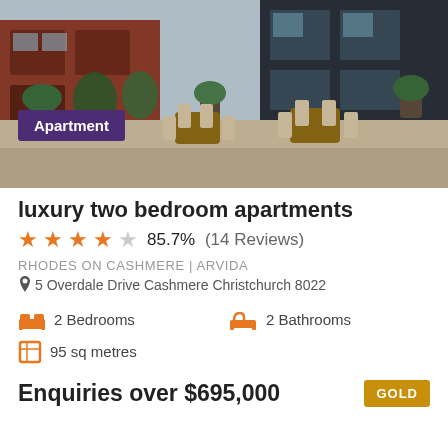[Figure (photo): Exterior terrace/courtyard of apartment complex with seating, plants, red brick and modern architecture]
Apartment
luxury two bedroom apartments
★★★★☆ 85.7%  (14 Reviews)
RHODES ON CASHMERE | ARVIDA
5 Overdale Drive Cashmere Christchurch 8022
2 Bedrooms
2 Bathrooms
95 sq metres
Enquiries over $695,000
GOLD